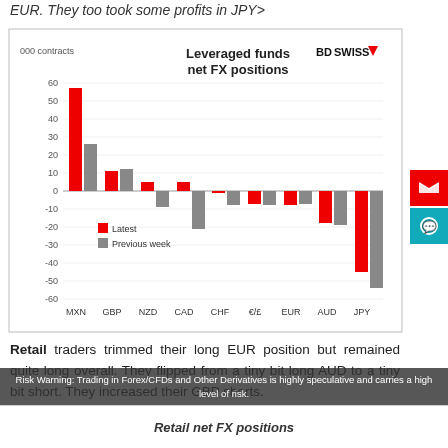EUR. They too took some profits in JPY>
[Figure (grouped-bar-chart): Leveraged funds net FX positions]
Retail traders trimmed their long EUR position but remained quite long overall. They flipped from a tiny bit long AUD to a tiny bit short. They increased their GBP shorts.
Risk Warning: Trading in Forex/CFDs and Other Derivatives is highly speculative and carries a high level of risk.
Retail net FX positions